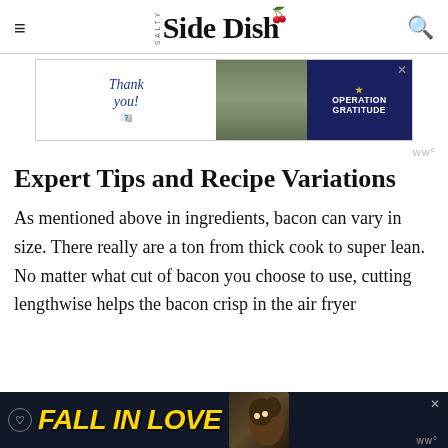Salty Side Dish
[Figure (photo): Advertisement banner: Thank you with American flag pencil on left, Operation Gratitude logo on right with soldiers photo in middle]
Expert Tips and Recipe Variations
As mentioned above in ingredients, bacon can vary in size. There really are a ton from thick cook to super lean. No matter what cut of bacon you choose to use, cutting lengthwise helps the bacon crisp in the air fryer
[Figure (photo): Advertisement banner at bottom: FALL IN LOVE with dog image, dark background]